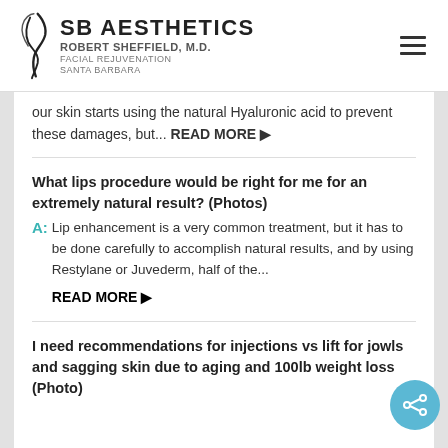SB AESTHETICS ROBERT SHEFFIELD, M.D. FACIAL REJUVENATION SANTA BARBARA
our skin starts using the natural Hyaluronic acid to prevent these damages, but... READ MORE ▶
What lips procedure would be right for me for an extremely natural result? (Photos)
A: Lip enhancement is a very common treatment, but it has to be done carefully to accomplish natural results, and by using Restylane or Juvederm, half of the... READ MORE ▶
I need recommendations for injections vs lift for jowls and sagging skin due to aging and 100lb weight loss (Photo)